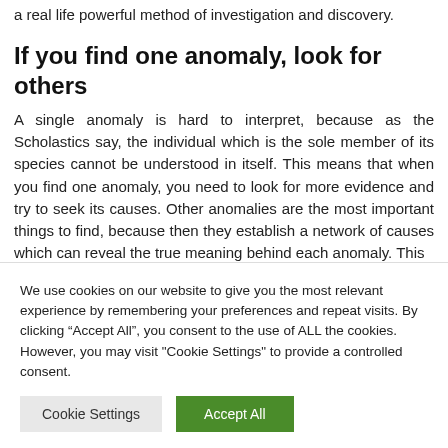a real life powerful method of investigation and discovery.
If you find one anomaly, look for others
A single anomaly is hard to interpret, because as the Scholastics say, the individual which is the sole member of its species cannot be understood in itself. This means that when you find one anomaly, you need to look for more evidence and try to seek its causes. Other anomalies are the most important things to find, because then they establish a network of causes which can reveal the true meaning behind each anomaly. This
We use cookies on our website to give you the most relevant experience by remembering your preferences and repeat visits. By clicking “Accept All”, you consent to the use of ALL the cookies. However, you may visit "Cookie Settings" to provide a controlled consent.